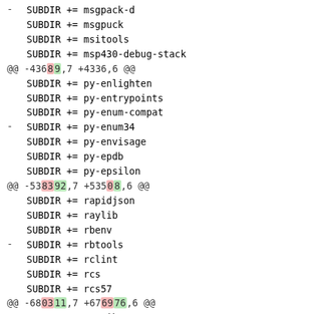-   SUBDIR += msgpack-d
SUBDIR += msgpuck
SUBDIR += msitools
SUBDIR += msp430-debug-stack
@@ -4368 9,7 +4336,6 @@
SUBDIR += py-enlighten
SUBDIR += py-entrypoints
SUBDIR += py-enum-compat
-   SUBDIR += py-enum34
SUBDIR += py-envisage
SUBDIR += py-epdb
SUBDIR += py-epsilon
@@ -5383 92,7 +5350 8,6 @@
SUBDIR += rapidjson
SUBDIR += raylib
SUBDIR += rbenv
-   SUBDIR += rbtools
SUBDIR += rclint
SUBDIR += rcs
SUBDIR += rcs57
@@ -6803 11,7 +6769 76,6 @@
SUBDIR += statik
SUBDIR += statsvn
SUBDIR += stb
-   SUBDIR += stdx-allocator